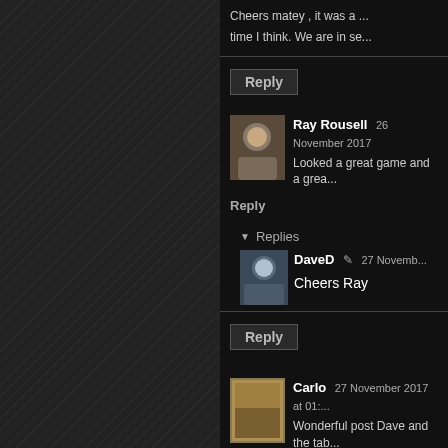Cheers matey , it was a ... time I think. We are in se...
Reply
Ray Rousell  26 November 2017
Looked a great game and a grea...
Reply
Replies
[Figure (photo): Avatar of DaveD user]
DaveD  27 Novemb...
Cheers Ray
Reply
[Figure (photo): Avatar of Carlo user]
Carlo  27 November 2017 at 01:...
Wonderful post Dave and the tab... in your purchases and keep to se...